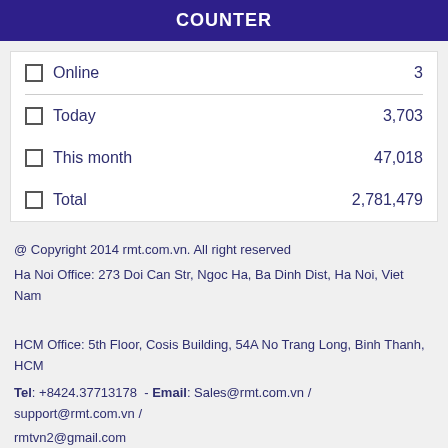COUNTER
| Online | 3 |
| Today | 3,703 |
| This month | 47,018 |
| Total | 2,781,479 |
@ Copyright 2014 rmt.com.vn. All right reserved
Ha Noi Office: 273 Doi Can Str, Ngoc Ha, Ba Dinh Dist, Ha Noi, Viet Nam
HCM Office: 5th Floor, Cosis Building, 54A No Trang Long, Binh Thanh, HCM
Tel: +8424.37713178  -  Email: Sales@rmt.com.vn / support@rmt.com.vn / rmtvn2@gmail.com
Sign up for email
tenban@mail.com
Register